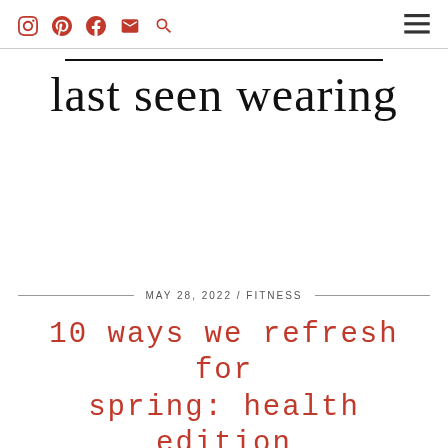[social icons: Instagram, Pinterest, Facebook, Email, Search] [hamburger menu]
last seen wearing
MAY 28, 2022 / FITNESS
10 ways we refresh for spring: health edition